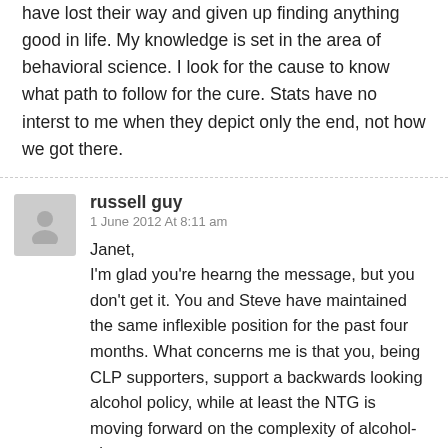have lost their way and given up finding anything good in life. My knowledge is set in the area of behavioral science. I look for the cause to know what path to follow for the cure. Stats have no interst to me when they depict only the end, not how we got there.
russell guy
1 June 2012 At 8:11 am
Janet,
I'm glad you're hearng the message, but you don't get it. You and Steve have maintained the same inflexible position for the past four months. What concerns me is that you, being CLP supporters, support a backwards looking alcohol policy, while at least the NTG is moving forward on the complexity of alcohol-abuse.